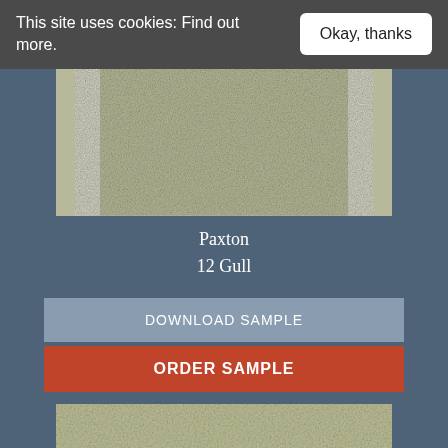This site uses cookies: Find out more.
Okay, thanks
[Figure (photo): Close-up texture of Paxton 12 Gull carpet sample — mottled grey-green tones]
Paxton
12 Gull
DOWNLOAD SAMPLE
ORDER SAMPLE
[Figure (photo): Partial view of a second carpet sample at bottom of page]